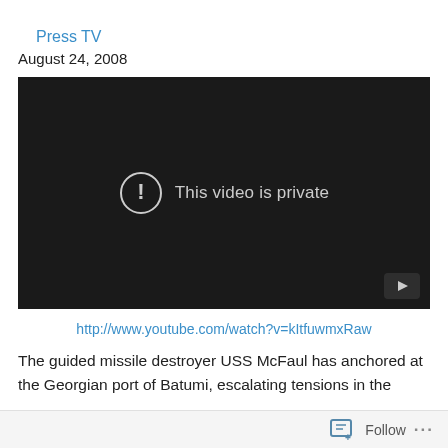Press TV
August 24, 2008
[Figure (screenshot): Embedded video player showing 'This video is private' message on a dark background with a warning icon and a play button in the bottom right corner.]
http://www.youtube.com/watch?v=kItfuwmxRaw
The guided missile destroyer USS McFaul has anchored at the Georgian port of Batumi, escalating tensions in the
Follow ...